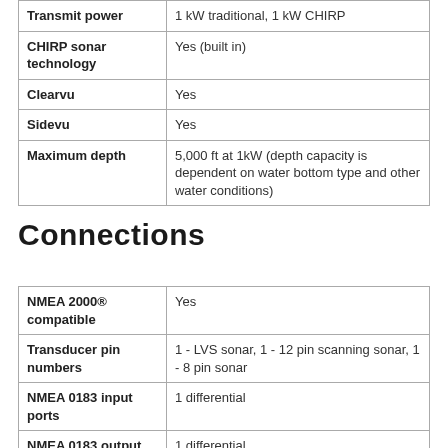| Feature | Value |
| --- | --- |
| Transmit power | 1 kW traditional, 1 kW CHIRP |
| CHIRP sonar technology | Yes (built in) |
| Clearvu | Yes |
| Sidevu | Yes |
| Maximum depth | 5,000 ft at 1kW (depth capacity is dependent on water bottom type and other water conditions) |
Connections
| Feature | Value |
| --- | --- |
| NMEA 2000® compatible | Yes |
| Transducer pin numbers | 1 - LVS sonar, 1 - 12 pin scanning sonar, 1 - 8 pin sonar |
| NMEA 0183 input ports | 1 differential |
| NMEA 0183 output ports | 1 differential |
| Video input ports | 1 -  BNC composite
1 - HDMI (HDCP compliant) |